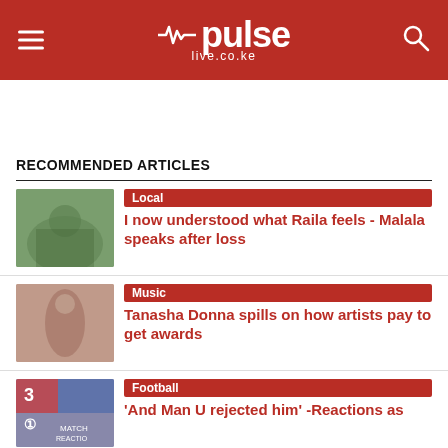pulse live.co.ke
RECOMMENDED ARTICLES
Local — I now understood what Raila feels - Malala speaks after loss
Music — Tanasha Donna spills on how artists pay to get awards
Football — 'And Man U rejected him' -Reactions as